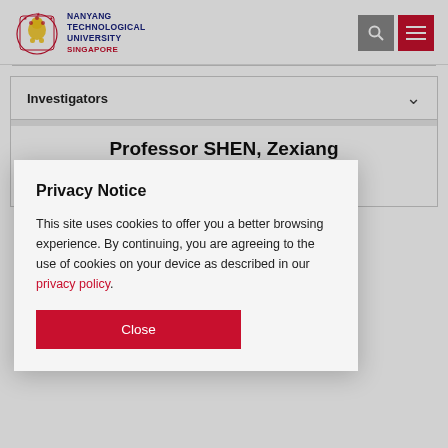[Figure (logo): Nanyang Technological University Singapore logo with lion crest and text]
NANYANG TECHNOLOGICAL UNIVERSITY SINGAPORE
Investigators
Professor SHEN, Zexiang
Privacy Notice
This site uses cookies to offer you a better browsing experience. By continuing, you are agreeing to the use of cookies on your device as described in our privacy policy.
Close
photoluminescence microscopy;